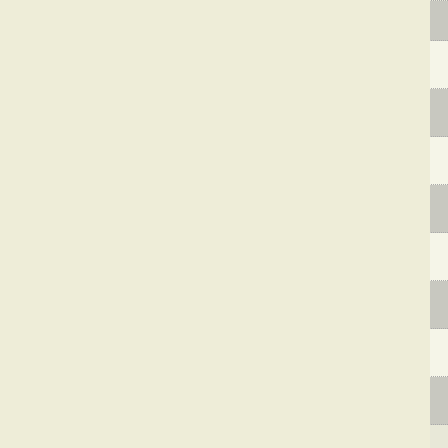|  | NC Accession | Gene | Description |
| --- | --- | --- | --- |
| ☐ | NC_007973 | Rmet_1156 | 3-hydroxy... dehydroge... |
| ☐ | NC_012850 | Rleg_3132 | 3-hydroxy... dehydroge... |
| ☐ | NC_007778 | RPB_1408 | 3-hydroxy... dehydroge... |
| ☐ | NC_010524 | Lcho_1897 | 3-hydroxy... dehydroge... |
| ☐ | NC_009720 | Xaut_1887 | 3-hydroxy... dehydroge... |
| ☐ | NC_003295 | RSc1572 | 3-hydroxy... dehydroge... |
| ☐ | NC_008752 | Aave_1586 | 3-hydroxy... dehydroge... |
| ☐ | NC_011369 | Rleg2_2860 | 3-hydroxy... dehydroge... |
| ☐ | NC_008048 | Sala_0938 | 3-hydroxy... dehydroge... |